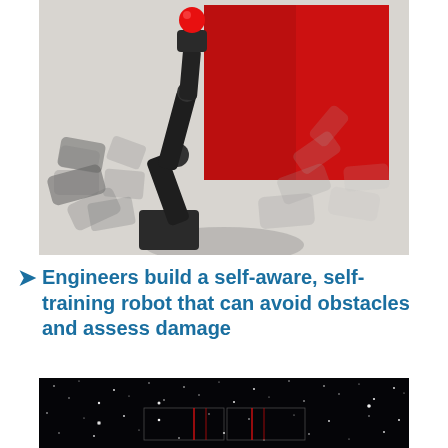[Figure (photo): A robotic arm with multiple black jointed segments and a red ball on top, shown in multiple positions/exposures against a white wall with a large red square shape in the background.]
Engineers build a self-aware, self-training robot that can avoid obstacles and assess damage
[Figure (photo): A dark astronomical image showing stars on a black background with a rectangular overlay/highlight in the center and red spectral lines visible.]